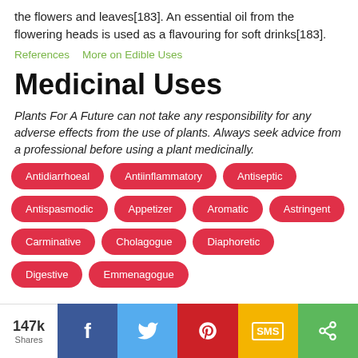the flowers and leaves[183]. An essential oil from the flowering heads is used as a flavouring for soft drinks[183].
References   More on Edible Uses
Medicinal Uses
Plants For A Future can not take any responsibility for any adverse effects from the use of plants. Always seek advice from a professional before using a plant medicinally.
Antidiarrhoeal
Antiinflammatory
Antiseptic
Antispasmodic
Appetizer
Aromatic
Astringent
Carminative
Cholagogue
Diaphoretic
Digestive
Emmenagogue
147k Shares | Facebook | Twitter | Pinterest | SMS | Share